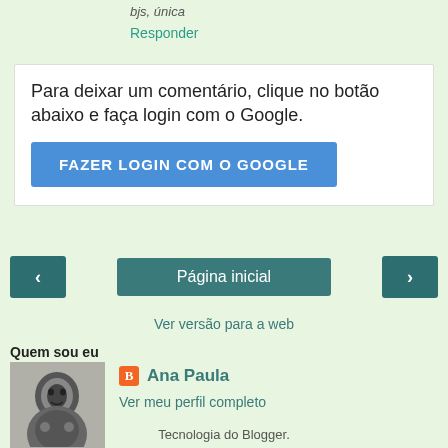bjs, única
Responder
Para deixar um comentário, clique no botão abaixo e faça login com o Google.
FAZER LOGIN COM O GOOGLE
‹
Página inicial
›
Ver versão para a web
Quem sou eu
[Figure (photo): Profile photo of Ana Paula - black and white portrait of a woman]
Ana Paula
Ver meu perfil completo
Tecnologia do Blogger.